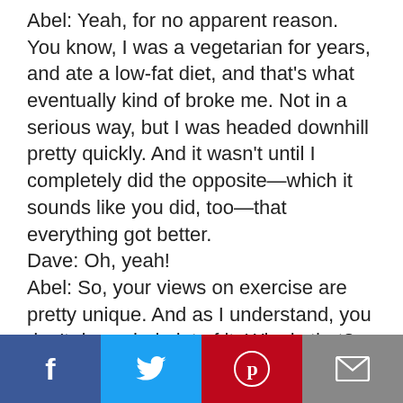Abel: Yeah, for no apparent reason. You know, I was a vegetarian for years, and ate a low-fat diet, and that's what eventually kind of broke me. Not in a serious way, but I was headed downhill pretty quickly. And it wasn't until I completely did the opposite—which it sounds like you did, too—that everything got better. Dave: Oh, yeah! Abel: So, your views on exercise are pretty unique. And as I understand, you don't do a whole lot of it. Why is that? Dave: Well, I mean, I've definitely done it, I mentioned the hour and a half a day of heavy weights and all that. And I've done high Alps